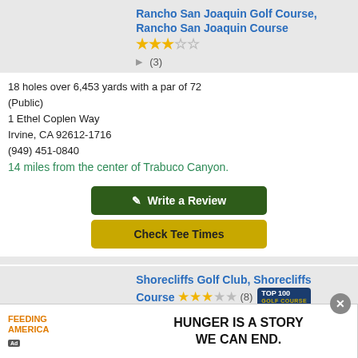Rancho San Joaquin Golf Course, Rancho San Joaquin Course ★★★☆☆ (3)
18 holes over 6,453 yards with a par of 72 (Public)
1 Ethel Coplen Way
Irvine, CA 92612-1716
(949) 451-0840
14 miles from the center of Trabuco Canyon.
Write a Review
Check Tee Times
Shorecliffs Golf Club, Shorecliffs Course ★★★☆☆ (8) TOP 100 GOLF COURSE
18 holes over 6,140 yards with a par of 71 (Public)
[Figure (infographic): Feeding America advertisement banner: 'HUNGER IS A STORY WE CAN END.']